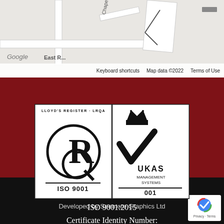[Figure (map): Google Maps partial view showing roads including Chapel Ln and East Rd, with Keyboard shortcuts, Map data ©2022, Terms of Use labels]
[Figure (logo): Lloyd's Register LRQA ISO 9001 certification badge with UKAS Management Systems 001 badge]
ISO 9001:2015
Certificate Identity Number:
10037147
© 2022 · JARE ATP. All rights reserved · Developed by Seemore Graphics Ltd